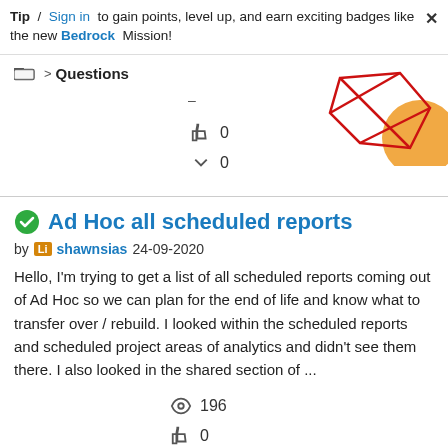Tip / Sign in to gain points, level up, and earn exciting badges like the new Bedrock Mission!
> Questions
–
👍 0
↩ 0
Ad Hoc all scheduled reports
by shawnsias 24-09-2020
Hello, I'm trying to get a list of all scheduled reports coming out of Ad Hoc so we can plan for the end of life and know what to transfer over / rebuild. I looked within the scheduled reports and scheduled project areas of analytics and didn't see them there. I also looked in the shared section of ...
👁 196
👍 0